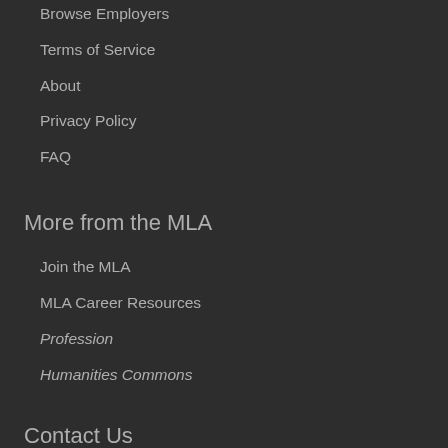Browse Employers
Terms of Service
About
Privacy Policy
FAQ
More from the MLA
Join the MLA
MLA Career Resources
Profession
Humanities Commons
Contact Us
85 Broad Street, suite 500